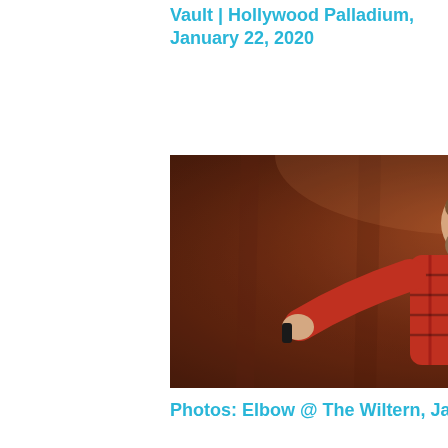Vault | Hollywood Palladium, January 22, 2020
[Figure (photo): Concert photo of a heavyset bearded man in a red plaid flannel shirt with arms outstretched singing on stage, warm brown/red toned background lighting]
Photos: Elbow @ The Wiltern, January 19, 2020
[Figure (other): Light gray advertisement placeholder block]